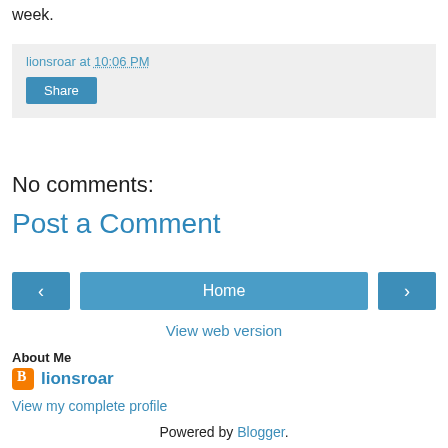week.
lionsroar at 10:06 PM
Share
No comments:
Post a Comment
‹  Home  ›
View web version
About Me
lionsroar
View my complete profile
Powered by Blogger.